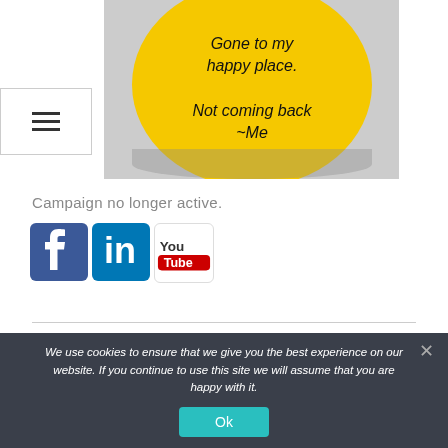[Figure (photo): A yellow circular button/badge with black italic handwritten-style text reading 'Gone to my happy place. Not coming back ~Me']
[Figure (other): Hamburger menu button (three horizontal lines) in a bordered white box]
Campaign no longer active.
[Figure (other): Social media icons: Facebook (blue f), LinkedIn (blue in), YouTube (red/white You Tube logo)]
We use cookies to ensure that we give you the best experience on our website. If you continue to use this site we will assume that you are happy with it.